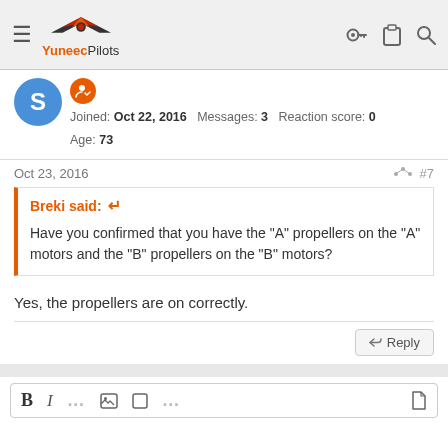YuneecPilots
Joined: Oct 22, 2016  Messages: 3  Reaction score: 0  Age: 73
Oct 23, 2016  #7
Breki said:
Have you confirmed that you have the "A" propellers on the "A" motors and the "B" propellers on the "B" motors?
Yes, the propellers are on correctly.
Reply